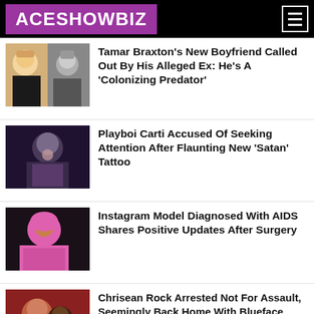ACESHOWBIZ
Tamar Braxton's New Boyfriend Called Out By His Alleged Ex: He's A 'Colonizing Predator'
Playboi Carti Accused Of Seeking Attention After Flaunting New 'Satan' Tattoo
Instagram Model Diagnosed With AIDS Shares Positive Updates After Surgery
Chrisean Rock Arrested Not For Assault, Seemingly Back Home With Blueface After Bar Altercation